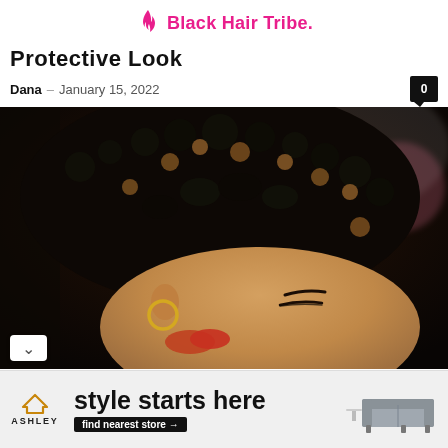Black Hair Tribe.
Protective Look
Dana – January 15, 2022  0
[Figure (photo): Close-up photo of a Black woman with a short natural hairstyle featuring tight defined curls and coils with some highlighted brown/blonde pieces throughout the dark hair. She is wearing a gold hoop earring and has red nail polish visible. The photo is taken from a side/top angle looking down.]
[Figure (infographic): Ashley Furniture advertisement banner showing 'style starts here' text with 'find nearest store →' CTA button and an image of a gray sofa with a small side table.]